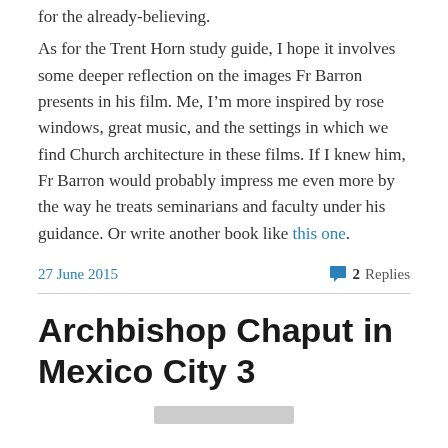for the already-believing.
As for the Trent Horn study guide, I hope it involves some deeper reflection on the images Fr Barron presents in his film. Me, I’m more inspired by rose windows, great music, and the settings in which we find Church architecture in these films. If I knew him, Fr Barron would probably impress me even more by the way he treats seminarians and faculty under his guidance. Or write another book like this one.
27 June 2015
2 Replies
Archbishop Chaput in Mexico City 3